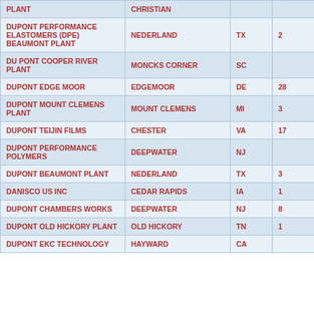| PLANT | CHRISTIAN |  |  |
| --- | --- | --- | --- |
| DUPONT PERFORMANCE ELASTOMERS (DPE) BEAUMONT PLANT | NEDERLAND | TX | 2 |
| DU PONT COOPER RIVER PLANT | MONCKS CORNER | SC |  |
| DUPONT EDGE MOOR | EDGEMOOR | DE | 28 |
| DUPONT MOUNT CLEMENS PLANT | MOUNT CLEMENS | MI | 3 |
| DUPONT TEIJIN FILMS | CHESTER | VA | 17 |
| DUPONT PERFORMANCE POLYMERS | DEEPWATER | NJ |  |
| DUPONT BEAUMONT PLANT | NEDERLAND | TX | 3 |
| DANISCO US INC | CEDAR RAPIDS | IA | 1 |
| DUPONT CHAMBERS WORKS | DEEPWATER | NJ | 8 |
| DUPONT OLD HICKORY PLANT | OLD HICKORY | TN | 1 |
| DUPONT EKC TECHNOLOGY | HAYWARD | CA |  |